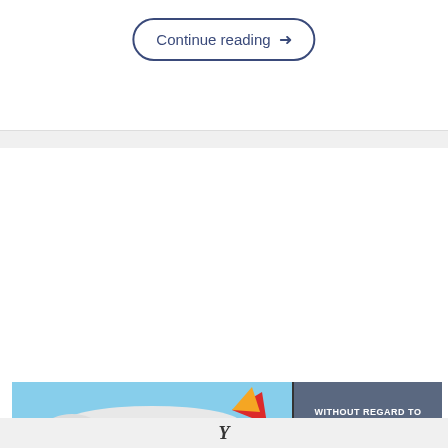Continue reading →
[Figure (photo): Outdoor mini-split AC condenser unit mounted on exterior brick wall with refrigerant lines and electrical conduit]
How To Vacuum Down a Mini-Split
[Figure (photo): Advertisement banner showing airplane cargo loading scene with text WITHOUT REGARD TO POLITICS, RELIGION OR ABILITY TO PAY]